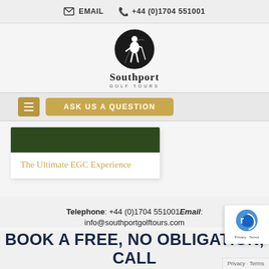EMAIL   +44 (0)1704 551001
[Figure (logo): Southport Golf Tours logo — golfer silhouette in black circle, with 'Southport GOLF TOURS' text]
ASK US A QUESTION
[Figure (photo): Dark green grass/golf course image]
The Ultimate EGC Experience
Telephone: +44 (0)1704 551001Email: info@southportgolftours.com
BOOK A FREE, NO OBLIGATION, CALL WITH ONE OF OUR GOLFING